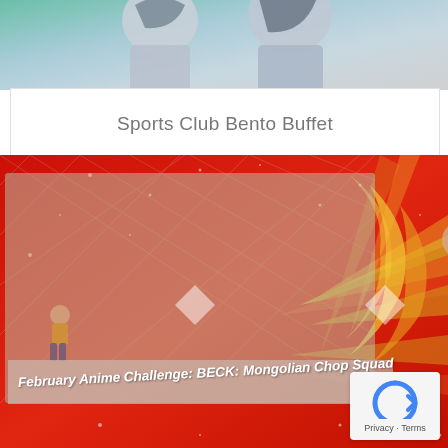[Figure (illustration): Anime character illustration at top, partial view showing upper body of animated characters with blue/grey tones and teal background]
Sports Club Bento Buffet
[Figure (illustration): Complex layered image: red decorative background with golden phoenix/bird patterns, overlaid with a muted scene showing two anime characters (Beck: Mongolian Chop Squad) standing in an outdoor setting with vintage cars, diamond pattern overlay]
February Anime Challenge: BECK: Mongolian Chop Squad
[Figure (logo): reCAPTCHA badge with Privacy and Terms links]